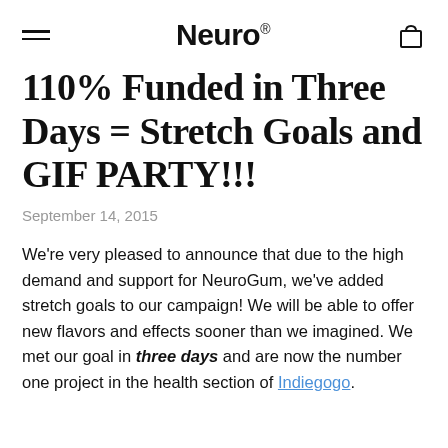Neuro
110% Funded in Three Days = Stretch Goals and GIF PARTY!!!
September 14, 2015
We're very pleased to announce that due to the high demand and support for NeuroGum, we've added stretch goals to our campaign! We will be able to offer new flavors and effects sooner than we imagined. We met our goal in three days and are now the number one project in the health section of Indiegogo.